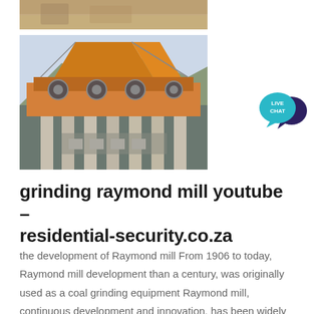[Figure (photo): Partial top image showing sandy/rocky terrain, cropped at top of page]
[Figure (photo): Industrial mining or milling equipment with large orange/rust-colored structure, concrete pillars, wheels/gears visible, mountains in background]
[Figure (other): Live Chat speech bubble icon - teal bubble with white LIVE CHAT text, dark navy larger bubble behind]
grinding raymond mill youtube – residential-security.co.za
the development of Raymond mill From 1906 to today, Raymond mill development than a century, was originally used as a coal grinding equipment Raymond mill, continuous development and innovation, has been widely used in various industries